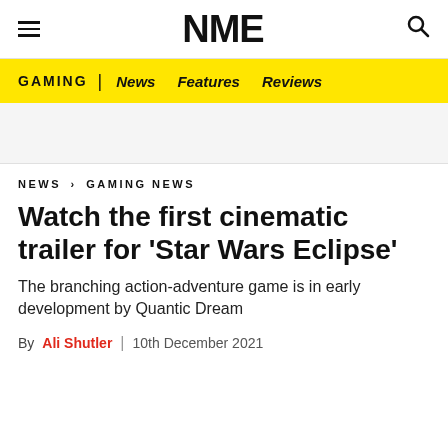NME
GAMING | News Features Reviews
NEWS › GAMING NEWS
Watch the first cinematic trailer for 'Star Wars Eclipse'
The branching action-adventure game is in early development by Quantic Dream
By Ali Shutler | 10th December 2021